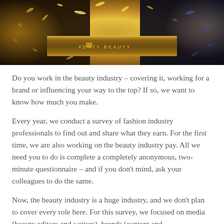[Figure (photo): A metallic Fenty Beauty branded band/bracelet surrounded by gold glitter and confetti on a dark background]
Do you work in the beauty industry – covering it, working for a brand or influencing your way to the top? If so, we want to know how much you make.
Every year, we conduct a survey of fashion industry professionals to find out and share what they earn. For the first time, we are also working on the beauty industry pay. All we need you to do is complete a completely anonymous, two-minute questionnaire – and if you don't mind, ask your colleagues to do the same.
Now, the beauty industry is a huge industry, and we don't plan to cover every role here. For this survey, we focused on media (beauty editors and writers), brands (content and